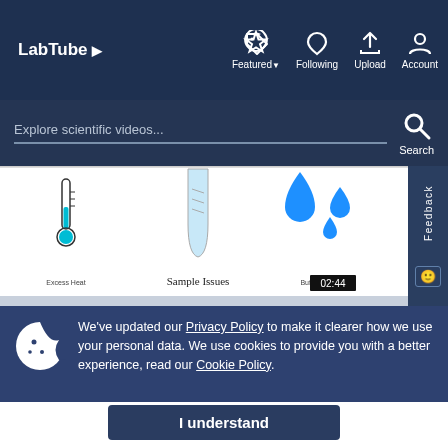LabTube ▷  Featured ▾  Following  Upload  Account
Explore scientific videos...  Search
[Figure (screenshot): Video thumbnail showing lab science icons: thermometer labeled 'Excess Heat', a lab tube labeled 'Sample Issues', water droplets labeled 'Buffer Leaks', and a timestamp '02:44']
We've updated our Privacy Policy to make it clearer how we use your personal data. We use cookies to provide you with a better experience, read our Cookie Policy.
I understand